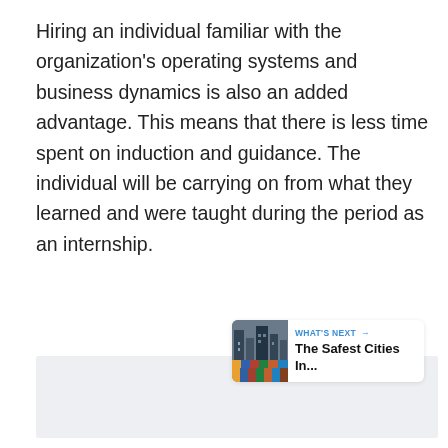Hiring an individual familiar with the organization's operating systems and business dynamics is also an added advantage. This means that there is less time spent on induction and guidance. The individual will be carrying on from what they learned and were taught during the period as an internship.
[Figure (screenshot): Gray placeholder box representing an embedded image or advertisement area]
[Figure (infographic): UI overlay: heart/like button (blue circle with heart icon), like count '1', share button (white circle with share icon), and a 'WHAT'S NEXT →' card showing 'The Safest Cities In...' with a city photo thumbnail]